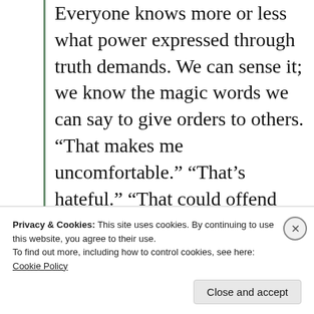Everyone knows more or less what power expressed through truth demands. We can sense it; we know the magic words we can say to give orders to others. “That makes me uncomfortable.” “That’s hateful.” “That could offend some people”. The words sound innocent but they aren’t
If you challenge a person who is enacting power, they can escalate. Your nearest authority knows the
Privacy & Cookies: This site uses cookies. By continuing to use this website, you agree to their use.
To find out more, including how to control cookies, see here: Cookie Policy